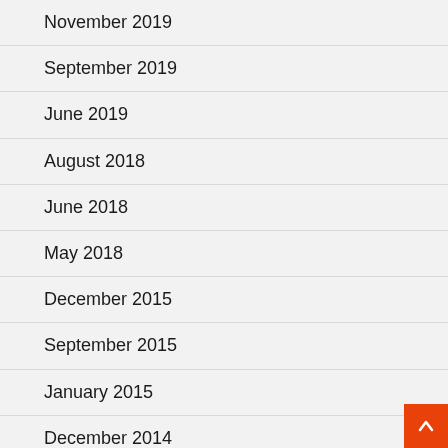November 2019
September 2019
June 2019
August 2018
June 2018
May 2018
December 2015
September 2015
January 2015
December 2014
January 2014